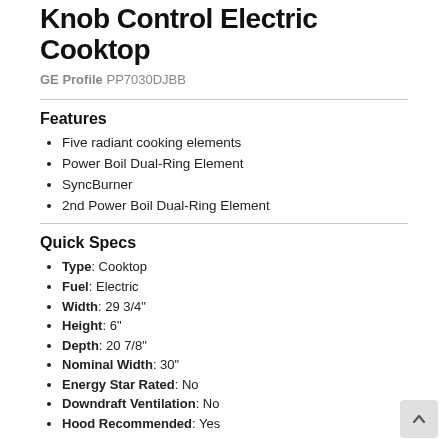Knob Control Electric Cooktop
GE Profile PP7030DJBB
Features
Five radiant cooking elements
Power Boil Dual-Ring Element
SyncBurner
2nd Power Boil Dual-Ring Element
Quick Specs
Type: Cooktop
Fuel: Electric
Width: 29 3/4"
Height: 6"
Depth: 20 7/8"
Nominal Width: 30"
Energy Star Rated: No
Downdraft Ventilation: No
Hood Recommended: Yes